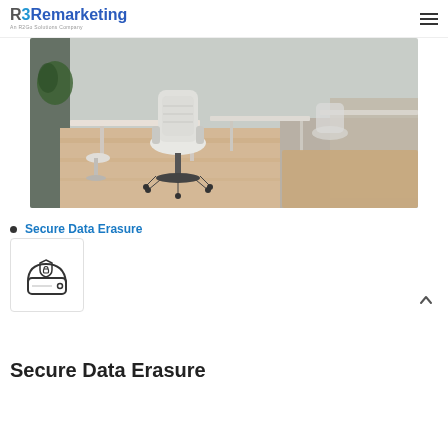R3Remarketing — An R2Go Solutions Company
[Figure (photo): Office interior with white ergonomic chairs and desks on light wood flooring]
Secure Data Erasure
[Figure (illustration): Hard drive with shield/lock security icon]
Secure Data Erasure